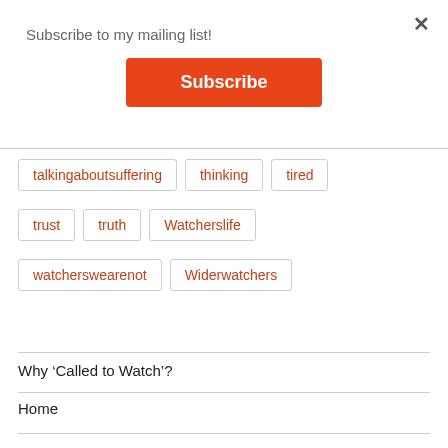Subscribe to my mailing list!
Subscribe
talkingaboutsuffering   thinking   tired
trust   truth   Watcherslife
watcherswearenot   Widerwatchers
Why ‘Called to Watch’?
Home